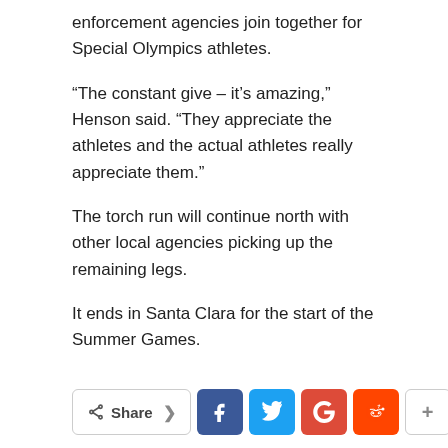enforcement agencies join together for Special Olympics athletes.
“The constant give – it’s amazing,” Henson said. “They appreciate the athletes and the actual athletes really appreciate them.”
The torch run will continue north with other local agencies picking up the remaining legs.
It ends in Santa Clara for the start of the Summer Games.
Donations are still being accepted. A link can be found here.
Copyright © 2022 KFSN-TV. All rights reserved.
[Figure (other): Social share bar with Share button, Facebook, Twitter, Google+, Reddit, more, and scroll-to-top buttons]